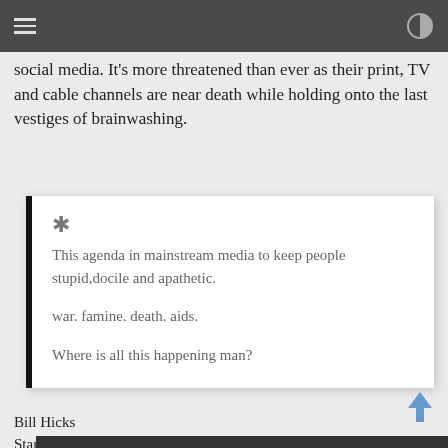social media. It's more threatened than ever as their print, TV and cable channels are near death while holding onto the last vestiges of brainwashing.
* This agenda in mainstream media to keep people stupid,docile and apathetic.

war. famine. death. aids.

Where is all this happening man?
Bill Hicks
Starting at 3:17